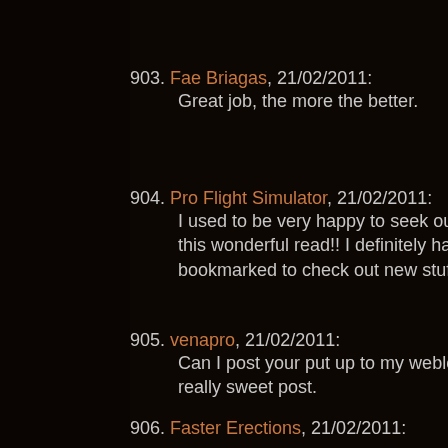903. Fae Briagas, 21/02/2011: Great job, the more the better.
904. Pro Flight Simulator, 21/02/2011: I used to be very happy to seek out this wonderful read!! I definitely hav bookmarked to check out new stuff
905. venapro, 21/02/2011: Can I post your put up to my weblo really sweet post.
906. Faster Erections, 21/02/2011: had put observing your main topics